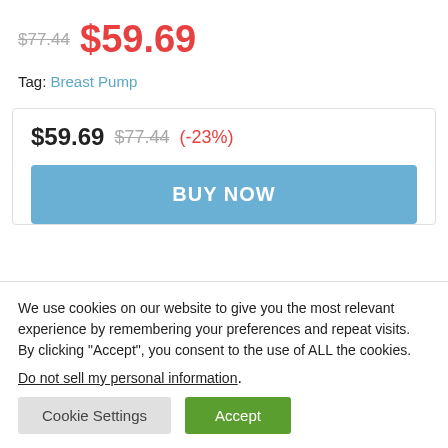$77.44  $59.69
Tag: Breast Pump
$59.69  $77.44  (-23%)
BUY NOW
We use cookies on our website to give you the most relevant experience by remembering your preferences and repeat visits. By clicking “Accept”, you consent to the use of ALL the cookies.
Do not sell my personal information.
Cookie Settings
Accept